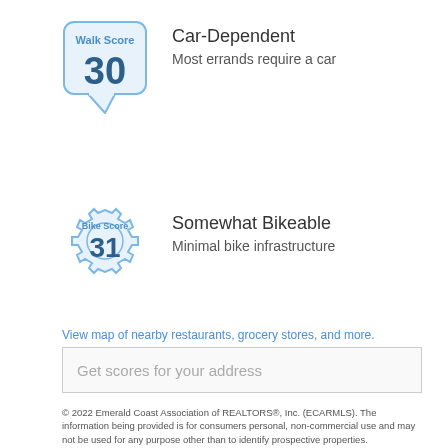[Figure (infographic): Walk Score badge showing score of 30 in a speech-bubble shaped badge with blue border and text 'Walk Score' above the number 30]
Car-Dependent
Most errands require a car
[Figure (infographic): Bike Score badge showing score of 31 in a gear/cog shaped badge with blue border and text 'Bike Score' above the number 31]
Somewhat Bikeable
Minimal bike infrastructure
View map of nearby restaurants, grocery stores, and more.
Get scores for your address
© 2022 Emerald Coast Association of REALTORS®, Inc. (ECARMLS). The information being provided is for consumers personal, non-commercial use and may not be used for any purpose other than to identify prospective properties